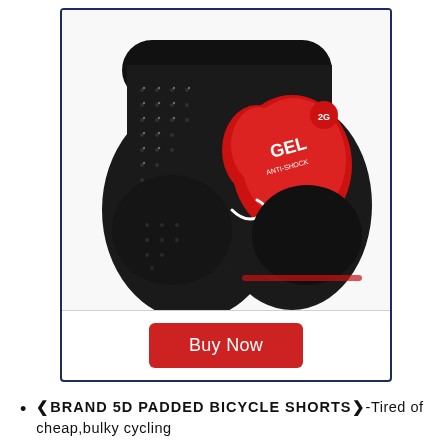[Figure (photo): Black cycling shorts with red gel anti-shock padding visible on the seat area, shown from a rear-side angle. The shorts are mesh fabric with white dot pattern and feature a large red GEL ANTI-SHOCK pad.]
Buy Now
❮BRAND 5D PADDED BICYCLE SHORTS❯-Tired of cheap,bulky cycling